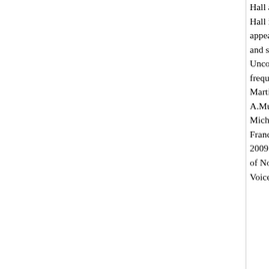Hall and Taipei’’s Hall in 2010. A love appeared as Residen and sang in the west Uncommon Prayer a frequent recitalist, h Martin Katz and fort A.Mus.D. in voice p Michigan and was a Franco American Vo 2009. He currently s of Notre Dame as As Voice.
Eight finalists competed for the title (one wi on the Weill Recital Hall stage in Carnegie H Congratulations to all of the finalists in this To learn more details visit the DCINY webs
A competition like no other offered in New Y advance their careers to the next level, this c excellent vocal technique and artistry in ope
PRIZES: